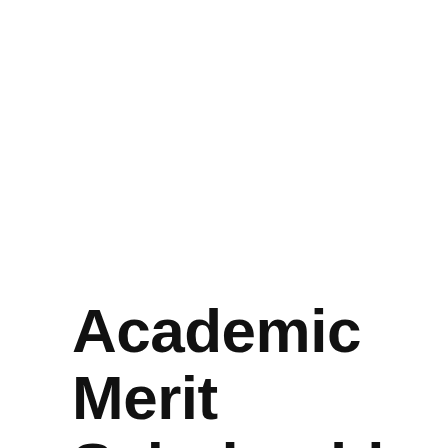Academic Merit Scholarships for